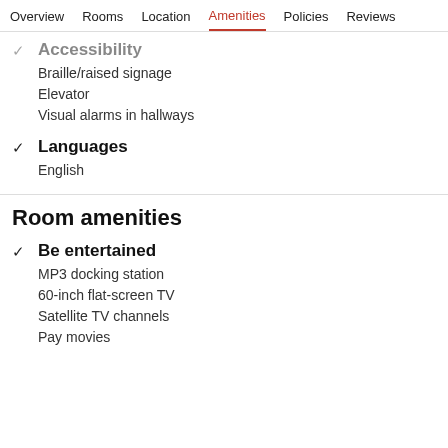Overview  Rooms  Location  Amenities  Policies  Reviews
Accessibility
Braille/raised signage
Elevator
Visual alarms in hallways
Languages
English
Room amenities
Be entertained
MP3 docking station
60-inch flat-screen TV
Satellite TV channels
Pay movies